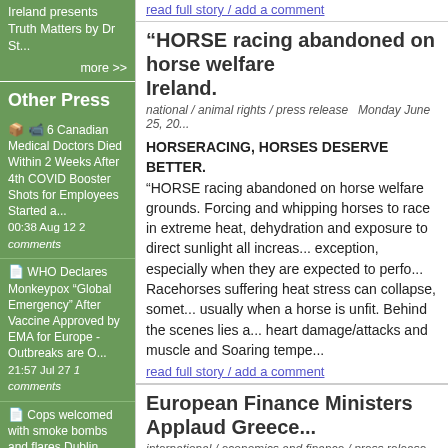Ireland presents Truth Matters by Dr St...
more >>
Other Press
6 Canadian Medical Doctors Died Within 2 Weeks After 4th COVID Booster Shots for Employees Started a... 00:38 Aug 12 2 comments
WHO Declares Monkeypox "Global Emergency" After Vaccine Approved by EMA for Europe - Outbreaks are O... 21:57 Jul 27 1 comments
Cops welcomed with smoke bombs and flares Dublin Pride 19:57 Jul 14 0
“HORSE racing abandoned on horse welfare Ireland.
national / animal rights / press release  Monday June 25, 20...
HORSERACING, HORSES DESERVE BETTER. “HORSE racing abandoned on horse welfare grounds. Forcing and whipping horses to race in extreme heat, dehydration and exposure to direct sunlight all increas... exception, especially when they are expected to perfo... Racehorses suffering heat stress can collapse, somet... usually when a horse is unfit. Behind the scenes lies a... heart damage/attacks and muscle and Soaring tempe...
read full story / add a comment
European Finance Ministers Applaud Greece...
international / economics and finance / press release  Frida...
European Finance Ministers endorse a new Greece d... policies and economic reforms.
read full story / add a comment
Dublin Airport Carpark Polluting Local Rivers...
national / environment / press release  Sunday June 17, 20...
A submission by an environmental watchdog has flage... application is before An Bord Pleanala under the Stra...